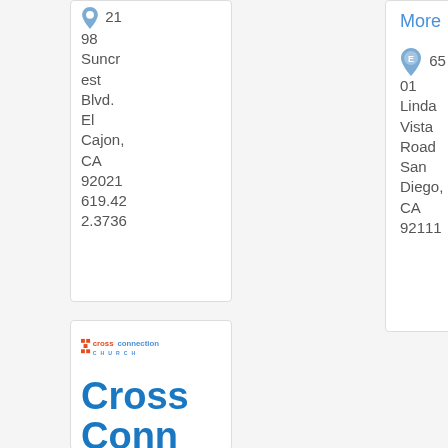2198 Suncrest Blvd. El Cajon, CA 92021 619.422.3736
More
6501 Linda Vista Road San Diego, CA 92111
[Figure (logo): Cross Connection Church logo with red cross icon and blue text]
Cross Connection